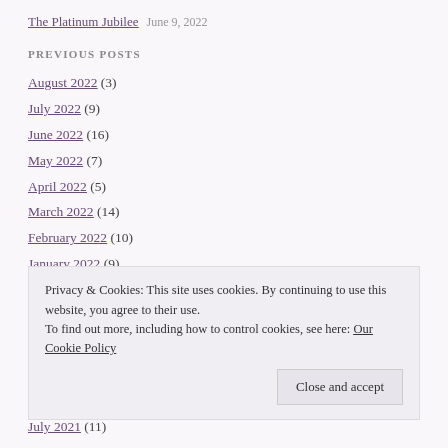The Platinum Jubilee   June 9, 2022
PREVIOUS POSTS
August 2022 (3)
July 2022 (9)
June 2022 (16)
May 2022 (7)
April 2022 (5)
March 2022 (14)
February 2022 (10)
January 2022 (9)
December 2021 (12)
Privacy & Cookies: This site uses cookies. By continuing to use this website, you agree to their use. To find out more, including how to control cookies, see here: Our Cookie Policy
July 2021 (11)